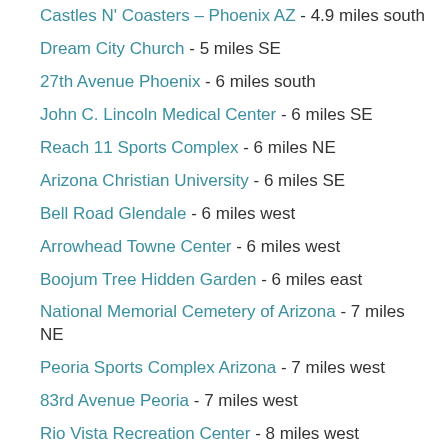Castles N' Coasters – Phoenix AZ - 4.9 miles south
Dream City Church - 5 miles SE
27th Avenue Phoenix - 6 miles south
John C. Lincoln Medical Center - 6 miles SE
Reach 11 Sports Complex - 6 miles NE
Arizona Christian University - 6 miles SE
Bell Road Glendale - 6 miles west
Arrowhead Towne Center - 6 miles west
Boojum Tree Hidden Garden - 6 miles east
National Memorial Cemetery of Arizona - 7 miles NE
Peoria Sports Complex Arizona - 7 miles west
83rd Avenue Peoria - 7 miles west
Rio Vista Recreation Center - 8 miles west
Paradiso Valley Mall - 8 miles east